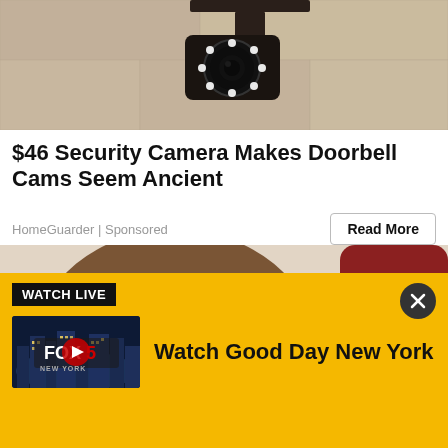[Figure (photo): Security camera mounted on a wall bracket, with circular LED lights visible]
$46 Security Camera Makes Doorbell Cams Seem Ancient
HomeGuarder | Sponsored
[Figure (illustration): Illustration of a fluffy brown dog being given something by a human hand holding a small container]
[Figure (screenshot): Yellow banner advertisement. WATCH LIVE badge. Fox 5 New York thumbnail with play button. Text: Watch Good Day New York. Close (X) button.]